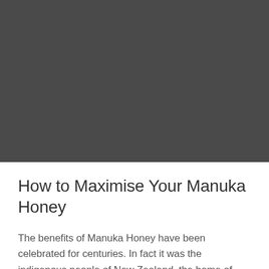[Figure (photo): Dark grey/charcoal colored hero image placeholder, approximately square, occupying the top portion of the page.]
How to Maximise Your Manuka Honey
The benefits of Manuka Honey have been celebrated for centuries. In fact it was the indigenous people of New Zealand, the home of